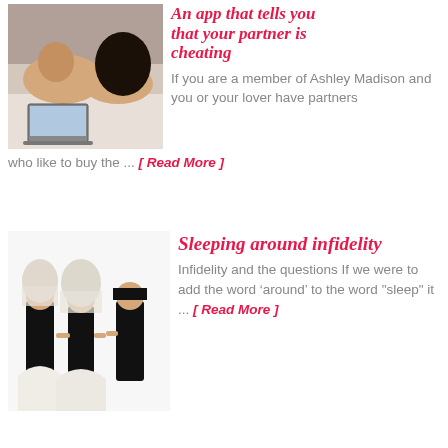[Figure (photo): Couple lying together looking at a laptop]
An app that tells you that your partner is cheating
If you are a member of Ashley Madison and you or your lover have partners who like to buy the ... [ Read More ]
[Figure (photo): Wedding cake toppers showing two grooms and a bride]
Sleeping around infidelity
Infidelity and the questions If we were to add the word ‘around’ to the word "sleep" it ... [ Read More ]